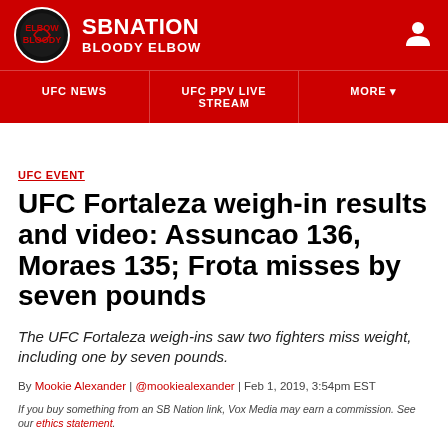SB NATION | BLOODY ELBOW
UFC NEWS | UFC PPV LIVE STREAM | MORE
UFC EVENT
UFC Fortaleza weigh-in results and video: Assuncao 136, Moraes 135; Frota misses by seven pounds
The UFC Fortaleza weigh-ins saw two fighters miss weight, including one by seven pounds.
By Mookie Alexander | @mookiealexander | Feb 1, 2019, 3:54pm EST
If you buy something from an SB Nation link, Vox Media may earn a commission. See our ethics statement.